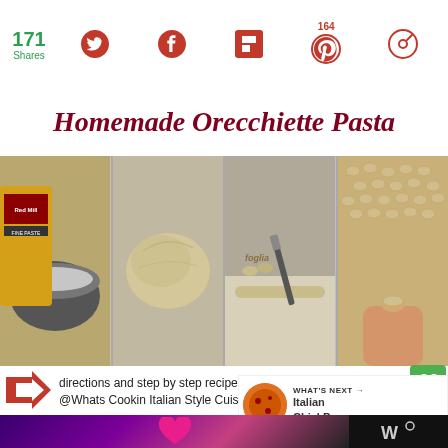171 Shares — social share bar with Twitter, Facebook, Flipboard, Pinterest (164), and other icon
Homemade Orecchiette Pasta
[Figure (photo): Four step-by-step photos showing: 1) Bob's Red Mill flour bag with mixing bowl, 2) round dough ball, 3) orecchiette dough pieces being cut with a knife on floured surface, 4) hand holding one orecchiette piece over tray of shaped pasta]
directions and step by step recipe @Whats Cookin Italian Style Cuisine.com
WHAT'S NEXT → Italian ChickPea...